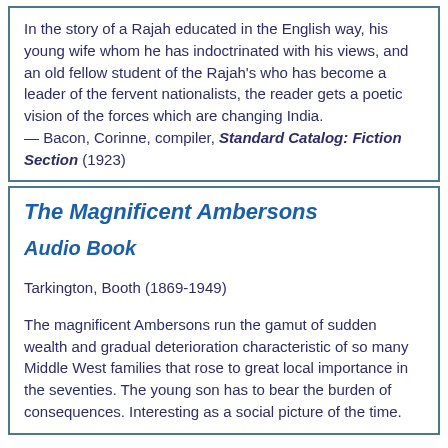In the story of a Rajah educated in the English way, his young wife whom he has indoctrinated with his views, and an old fellow student of the Rajah's who has become a leader of the fervent nationalists, the reader gets a poetic vision of the forces which are changing India. — Bacon, Corinne, compiler, Standard Catalog: Fiction Section (1923)
The Magnificent Ambersons
Audio Book
Tarkington, Booth (1869-1949)
The magnificent Ambersons run the gamut of sudden wealth and gradual deterioration characteristic of so many Middle West families that rose to great local importance in the seventies. The young son has to bear the burden of consequences. Interesting as a social picture of the time.